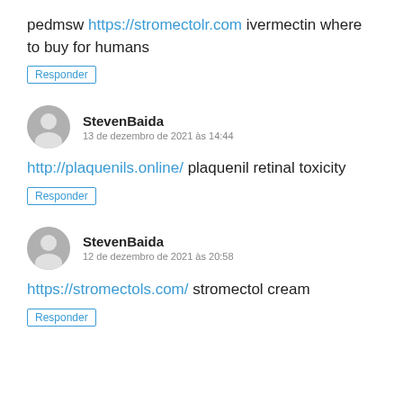pedmsw https://stromectolr.com ivermectin where to buy for humans
Responder
StevenBaida
13 de dezembro de 2021 às 14:44
http://plaquenils.online/ plaquenil retinal toxicity
Responder
StevenBaida
12 de dezembro de 2021 às 20:58
https://stromectols.com/ stromectol cream
Responder